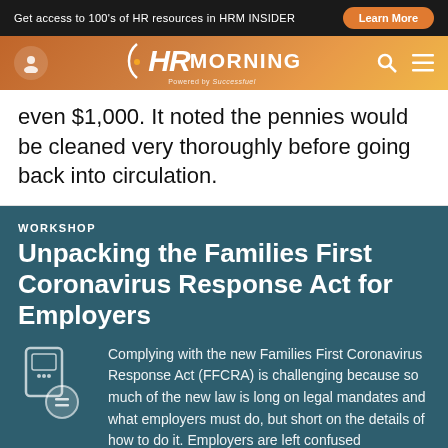Get access to 100's of HR resources in HRM INSIDER   Learn More
[Figure (logo): HR Morning logo with navigation bar on gradient orange-brown background]
even $1,000. It noted the pennies would be cleaned very thoroughly before going back into circulation.
WORKSHOP
Unpacking the Families First Coronavirus Response Act for Employers
Complying with the new Families First Coronavirus Response Act (FFCRA) is challenging because so much of the new law is long on legal mandates and what employers must do, but short on the details of how to do it. Employers are left confused